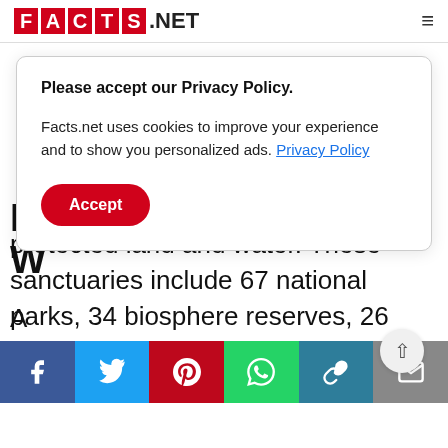FACTS.NET
Please accept our Privacy Policy.

Facts.net uses cookies to improve your experience and to show you personalized ads. Privacy Policy

Accept
protected land and water. These sanctuaries include 67 national parks, 34 biosphere reserves, 26